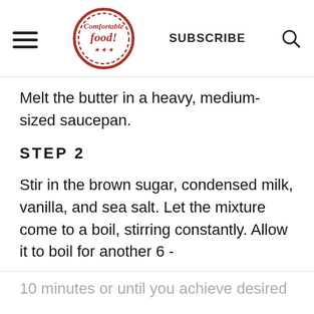Comfortable food | SUBSCRIBE
Melt the butter in a heavy, medium-sized saucepan.
STEP 2
Stir in the brown sugar, condensed milk, vanilla, and sea salt. Let the mixture come to a boil, stirring constantly. Allow it to boil for another 6 -
10 minutes or until you achieve desired